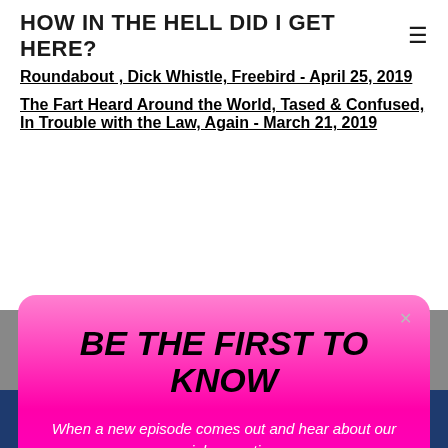HOW IN THE HELL DID I GET HERE?
Roundabout , Dick Whistle, Freebird - April 25, 2019
The Fart Heard Around the World, Tased & Confused, In Trouble with the Law, Again - March 21, 2019
[Figure (screenshot): Modal popup with pink gradient background. Title: BE THE FIRST TO KNOW. Body text: When a new episode comes out and hear about our special promotions. Button: Join Now!]
[Figure (other): Facebook Like button showing Like 0 and Twitter Tweet button]
0 Comments
POWERED BY weebly